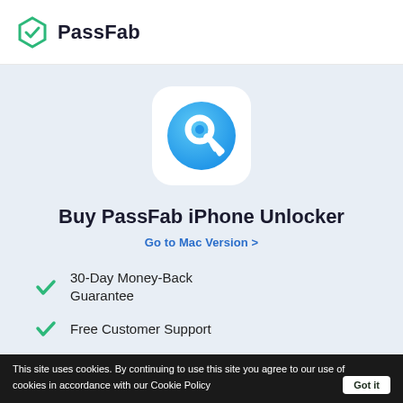[Figure (logo): PassFab logo — hexagonal shield icon in teal/green next to bold text 'PassFab']
[Figure (illustration): PassFab iPhone Unlocker app icon — white rounded rectangle with blue gradient circle containing a white key/magnifier icon]
Buy PassFab iPhone Unlocker
Go to Mac Version >
30-Day Money-Back Guarantee
Free Customer Support
Lifetime Free Updates
This site uses cookies. By continuing to use this site you agree to our use of cookies in accordance with our Cookie Policy  Got it